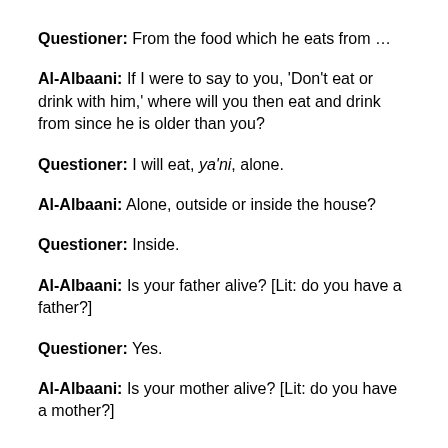Questioner: From the food which he eats from …
Al-Albaani: If I were to say to you, 'Don't eat or drink with him,' where will you then eat and drink from since he is older than you?
Questioner: I will eat, ya'ni, alone.
Al-Albaani: Alone, outside or inside the house?
Questioner: Inside.
Al-Albaani: Is your father alive? [Lit: do you have a father?]
Questioner: Yes.
Al-Albaani: Is your mother alive? [Lit: do you have a mother?]